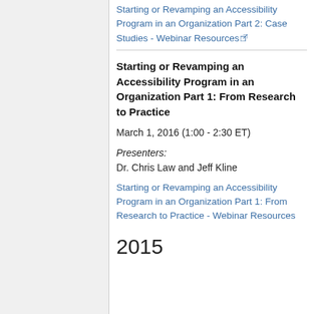Starting or Revamping an Accessibility Program in an Organization Part 2: Case Studies - Webinar Resources [external link]
Starting or Revamping an Accessibility Program in an Organization Part 1: From Research to Practice
March 1, 2016 (1:00 - 2:30 ET)
Presenters:
Dr. Chris Law and Jeff Kline
Starting or Revamping an Accessibility Program in an Organization Part 1: From Research to Practice - Webinar Resources
2015